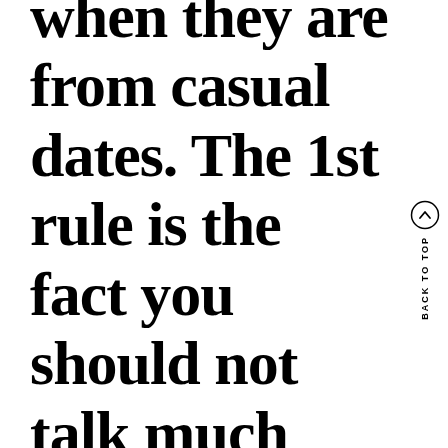when they are from casual dates. The 1st rule is the fact you should not talk much about the
[Figure (other): Back to top button: circle with upward chevron arrow, with vertical text 'BACK TO TOP' beside it]